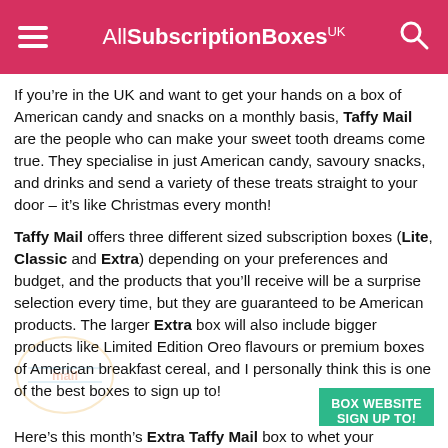AllSubscriptionBoxes UK
If you’re in the UK and want to get your hands on a box of American candy and snacks on a monthly basis, Taffy Mail are the people who can make your sweet tooth dreams come true. They specialise in just American candy, savoury snacks, and drinks and send a variety of these treats straight to your door – it’s like Christmas every month!
Taffy Mail offers three different sized subscription boxes (Lite, Classic and Extra) depending on your preferences and budget, and the products that you’ll receive will be a surprise selection every time, but they are guaranteed to be American products. The larger Extra box will also include bigger products like Limited Edition Oreo flavours or premium boxes of American breakfast cereal, and I personally think this is one of the best boxes to sign up to!
Here’s this month’s Extra Taffy Mail box to whet your